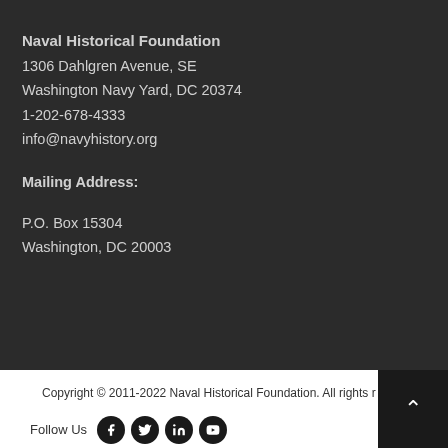Naval Historical Foundation
1306 Dahlgren Avenue, SE
Washington Navy Yard, DC 20374
1-202-678-4333
info@navyhistory.org
Mailing Address:
P.O. Box 15304
Washington, DC 20003
Copyright © 2011-2022 Naval Historical Foundation. All rights r
Follow Us